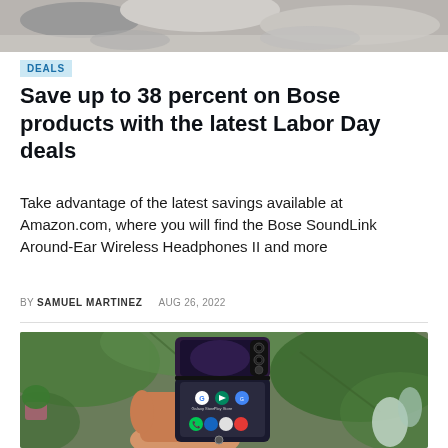[Figure (photo): Top portion of a photo showing what appears to be shoes or clothing items in grayscale]
DEALS
Save up to 38 percent on Bose products with the latest Labor Day deals
Take advantage of the latest savings available at Amazon.com, where you will find the Bose SoundLink Around-Ear Wireless Headphones II and more
BY SAMUEL MARTINEZ   AUG 26, 2022
[Figure (photo): A hand holding a Samsung Galaxy Z Flip foldable smartphone half-open, showing the Android home screen with app icons including Google, Galaxy Store, Play Store, Phone, Messages, Camera, and more. Green tropical plants are visible in the background.]